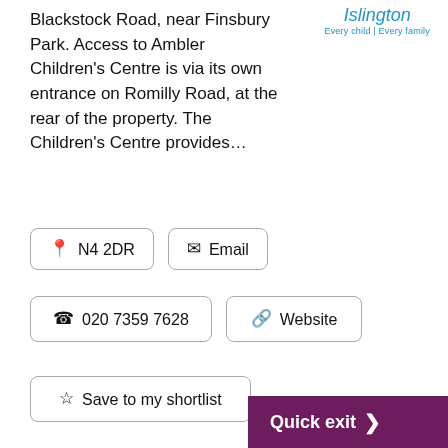[Figure (logo): Islington council logo with text 'Islington' in italic blue and tagline 'Every child | Every family']
Blackstock Road, near Finsbury Park. Access to Ambler Children's Centre is via its own entrance on Romilly Road, at the rear of the property. The Children's Centre provides...
N4 2DR
Email
020 7359 7628
Website
Save to my shortlist
Angel Canal Boat
According to trips and projects
Canal boat with professional skipper for day and...